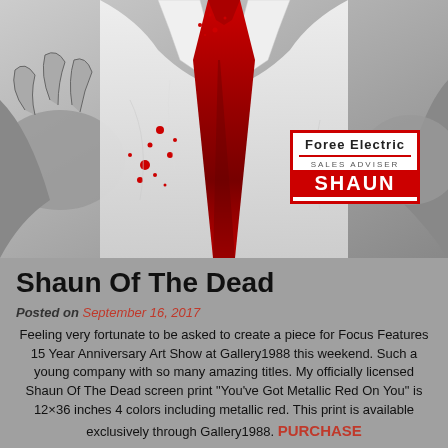[Figure (illustration): Grayscale illustration of a man in a white shirt and red tie with blood splatters, wearing a 'Foree Electric / Sales Adviser / SHAUN' name badge, with zombie hands grabbing at him]
Shaun Of The Dead
Posted on September 16, 2017
Feeling very fortunate to be asked to create a piece for Focus Features 15 Year Anniversary Art Show at Gallery1988 this weekend. Such a young company with so many amazing titles. My officially licensed Shaun Of The Dead screen print “You've Got Metallic Red On You” is 12×36 inches 4 colors including metallic red. This print is available exclusively through Gallery1988. PURCHASE